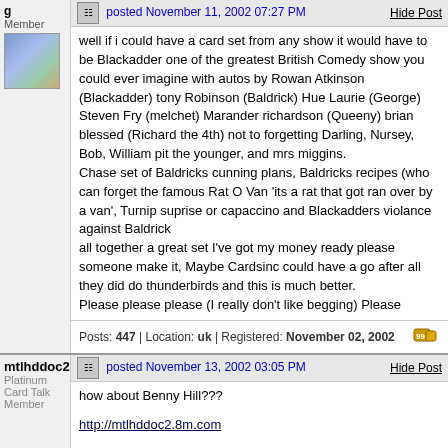Member
posted November 11, 2002 07:27 PM | Hide Post
well if i could have a card set from any show it would have to be Blackadder one of the greatest British Comedy show you could ever imagine with autos by Rowan Atkinson (Blackadder) tony Robinson (Baldrick) Hue Laurie (George) Steven Fry (melchet) Marander richardson (Queeny) brian blessed (Richard the 4th) not to forgetting Darling, Nursey, Bob, William pit the younger, and mrs miggins.
Chase set of Baldricks cunning plans, Baldricks recipes (who can forget the famous Rat O Van 'its a rat that got ran over by a van', Turnip suprise or capaccino and Blackadders violance against Baldrick
all together a great set I've got my money ready please someone make it, Maybe Cardsinc could have a go after all they did do thunderbirds and this is much better.
Please please please (I really don't like begging) Please
Posts: 447 | Location: uk | Registered: November 02, 2002
mtlhddoc2
Platinum Card Talk Member
posted November 13, 2002 03:05 PM | Hide Post
how about Benny Hill???
http://mtlhddoc2.8m.com
"When our friends start killing people, we help them, thats what we do" - Xander, Buffy the Vampire Slayer 10-22-02